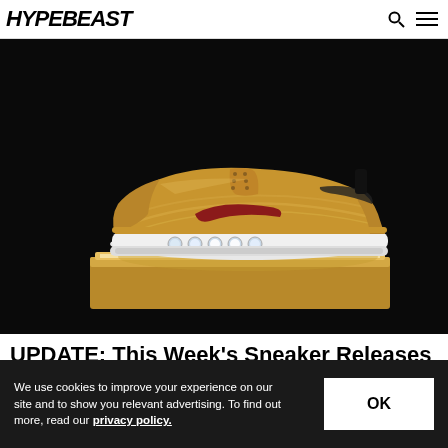HYPEBEAST
[Figure (photo): Nike Air Max 97 gold sneaker floating above a glowing gold pedestal against a black background]
UPDATE: This Week's Sneaker Releases You Won't Want to Sleep On
We use cookies to improve your experience on our site and to show you relevant advertising. To find out more, read our privacy policy.